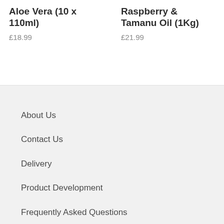Aloe Vera (10 x 110ml)
£18.99
Raspberry & Tamanu Oil (1Kg)
£21.99
About Us
Contact Us
Delivery
Product Development
Frequently Asked Questions